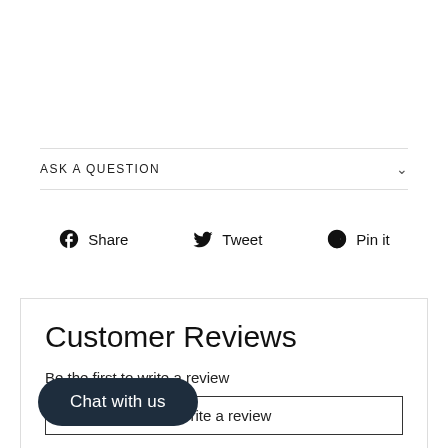ASK A QUESTION
Share   Tweet   Pin it
Customer Reviews
Be the first to write a review
Write a review
Chat with us